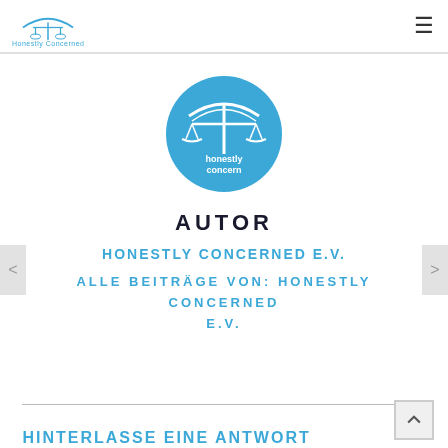Honestly Concerned [logo] [hamburger menu]
[Figure (logo): Honestly Concerned circular blue logo with scales of justice icon and text 'honestly concern']
AUTOR
HONESTLY CONCERNED E.V.
ALLE BEITRÄGE VON: HONESTLY CONCERNED E.V.
HINTERLASSE EINE ANTWORT